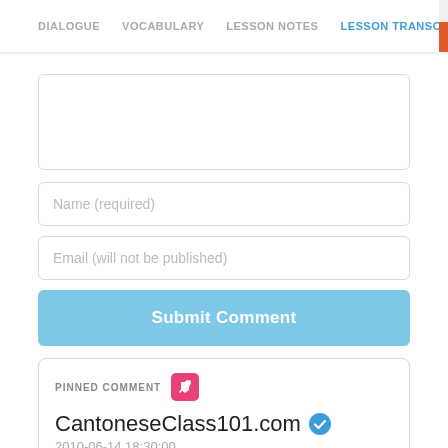DIALOGUE  VOCABULARY  LESSON NOTES  LESSON TRANSCRIPT  C
[Figure (screenshot): Empty comment textarea input box with rounded border]
Name (required)
Email (will not be published)
Submit Comment
PINNED COMMENT
CantoneseClass101.com
2010-06-14 18:30:00
If you receive a "You are welcome" from your Cantonese friend at least you know you said "Thank